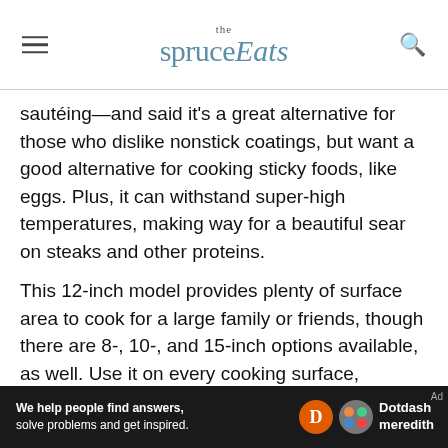the spruce Eats
sautéing—and said it's a great alternative for those who dislike nonstick coatings, but want a good alternative for cooking sticky foods, like eggs. Plus, it can withstand super-high temperatures, making way for a beautiful sear on steaks and other proteins.
This 12-inch model provides plenty of surface area to cook for a large family or friends, though there are 8-, 10-, and 15-inch options available, as well. Use it on every cooking surface, including induction burners, a campfire, or grill. Maintenance is fairly easy for carbon steel, too.
[Figure (other): Dotdash Meredith advertisement banner: 'We help people find answers, solve problems and get inspired.' with Dotdash Meredith logo]